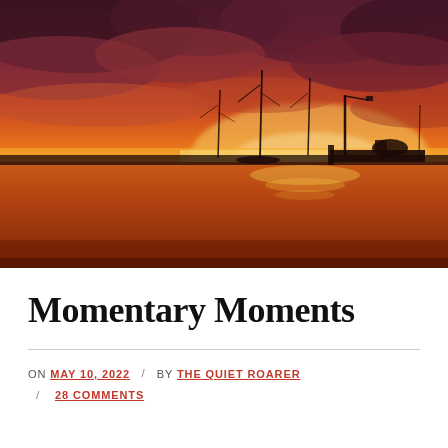[Figure (photo): A dramatic sunset over a calm harbor or bay. The sky is filled with deep orange, red, and purple clouds, with a brilliant golden-yellow glow near the horizon. Sailboat masts and a dock with equipment are silhouetted against the glowing water. The water reflects warm orange and gold tones.]
Momentary Moments
ON MAY 10, 2022 / BY THE QUIET ROARER / 28 COMMENTS